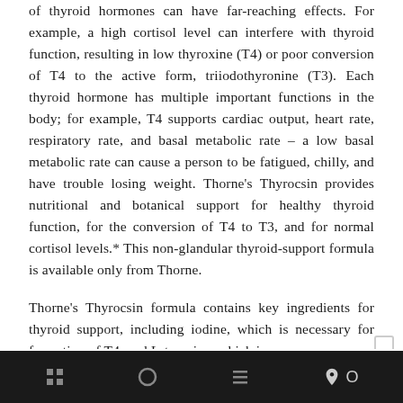of thyroid hormones can have far-reaching effects. For example, a high cortisol level can interfere with thyroid function, resulting in low thyroxine (T4) or poor conversion of T4 to the active form, triiodothyronine (T3). Each thyroid hormone has multiple important functions in the body; for example, T4 supports cardiac output, heart rate, respiratory rate, and basal metabolic rate – a low basal metabolic rate can cause a person to be fatigued, chilly, and have trouble losing weight. Thorne's Thyrocsin provides nutritional and botanical support for healthy thyroid function, for the conversion of T4 to T3, and for normal cortisol levels.* This non-glandular thyroid-support formula is available only from Thorne.
Thorne's Thyrocsin formula contains key ingredients for thyroid support, including iodine, which is necessary for formation of T4, and L-tyrosine, which is a necessary
navigation bar with icons